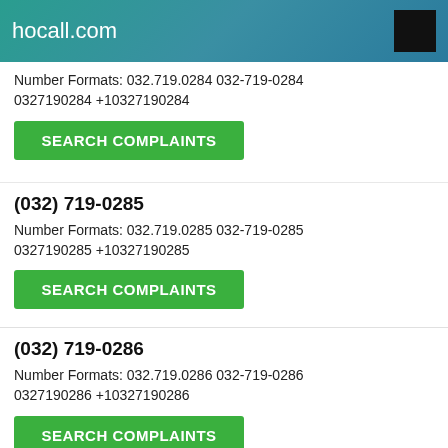hocall.com
Number Formats: 032.719.0284 032-719-0284 0327190284 +10327190284
SEARCH COMPLAINTS
(032) 719-0285
Number Formats: 032.719.0285 032-719-0285 0327190285 +10327190285
SEARCH COMPLAINTS
(032) 719-0286
Number Formats: 032.719.0286 032-719-0286 0327190286 +10327190286
SEARCH COMPLAINTS
(032) 719-0287